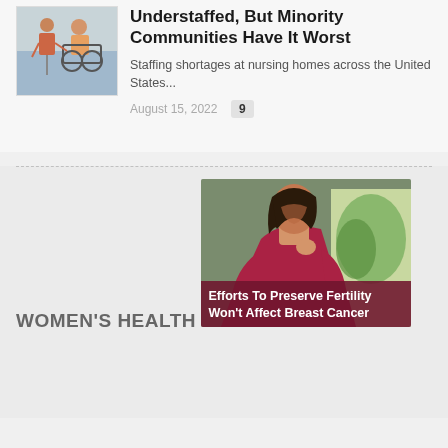[Figure (photo): Two people, one in a wheelchair, in a care facility setting]
Understaffed, But Minority Communities Have It Worst
Staffing shortages at nursing homes across the United States...
August 15, 2022  9
WOMEN'S HEALTH
[Figure (photo): Woman in red top looking downward, appearing concerned]
Efforts To Preserve Fertility Won't Affect Breast Cancer